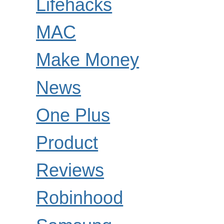Lifehacks
MAC
Make Money
News
One Plus
Product
Reviews
Robinhood
Samsung
Security
SEO